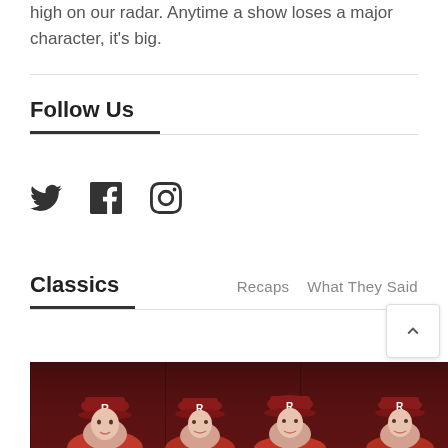high on our radar. Anytime a show loses a major character, it's big.
Follow Us
[Figure (infographic): Social media icons: Twitter bird, Facebook f, Instagram camera outline]
Classics
Recaps   What They Said
[Figure (photo): Several women wearing red baseball caps with letter R, in a show or production still]